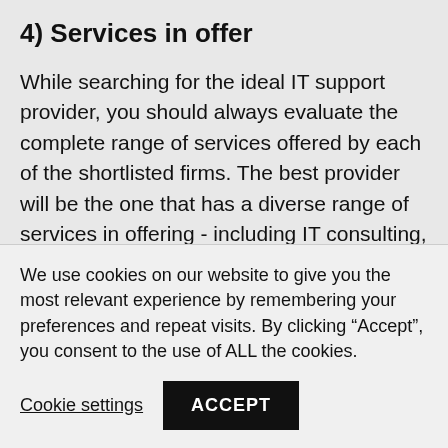4) Services in offer
While searching for the ideal IT support provider, you should always evaluate the complete range of services offered by each of the shortlisted firms. The best provider will be the one that has a diverse range of services in offering - including IT consulting, network security, IT support, and more. Also, you must evaluate whether or not the service provider in question has the agility and
We use cookies on our website to give you the most relevant experience by remembering your preferences and repeat visits. By clicking “Accept”, you consent to the use of ALL the cookies.
Cookie settings   ACCEPT